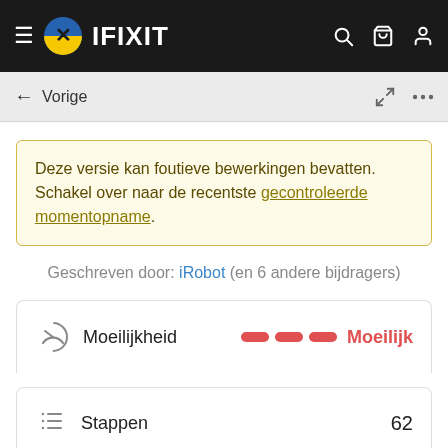[Figure (screenshot): iFixit website navigation bar with hamburger menu, logo, brand name IFIXIT, and icons for search, cart, and user account on dark background]
← Vorige
Deze versie kan foutieve bewerkingen bevatten. Schakel over naar de recentste gecontroleerde momentopname.
Geschreven door: iRobot (en 6 andere bijdragers)
|  | Moeilijkheid |  | Moeilijk |
| --- | --- | --- | --- |
|  | Stappen | 62 |
| --- | --- | --- |